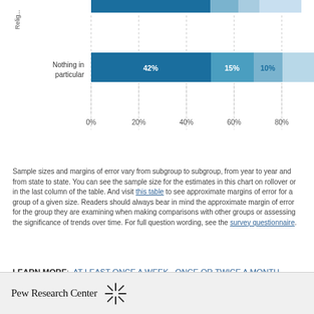[Figure (stacked-bar-chart): Religious attendance stacked bar chart (partial)]
Sample sizes and margins of error vary from subgroup to subgroup, from year to year and from state to state. You can see the sample size for the estimates in this chart on rollover or in the last column of the table. And visit this table to see approximate margins of error for a group of a given size. Readers should always bear in mind the approximate margin of error for the group they are examining when making comparisons with other groups or assessing the significance of trends over time. For full question wording, see the survey questionnaire.
LEARN MORE: AT LEAST ONCE A WEEK, ONCE OR TWICE A MONTH, SEVERAL TIMES A YEAR, SELDOM/NEVER
Pew Research Center